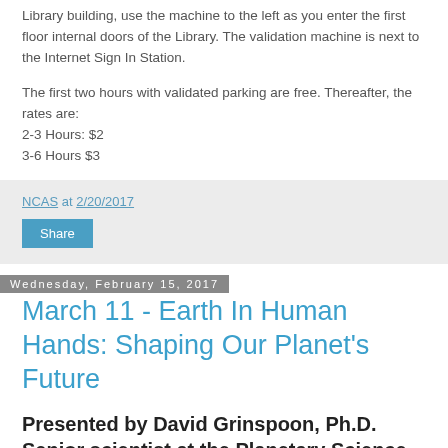Library building, use the machine to the left as you enter the first floor internal doors of the Library. The validation machine is next to the Internet Sign In Station.
The first two hours with validated parking are free. Thereafter, the rates are:
2-3 Hours: $2
3-6 Hours $3
NCAS at 2/20/2017
Share
Wednesday, February 15, 2017
March 11 - Earth In Human Hands: Shaping Our Planet's Future
Presented by David Grinspoon, Ph.D. Senior scientist at the Planetary Science Institute.